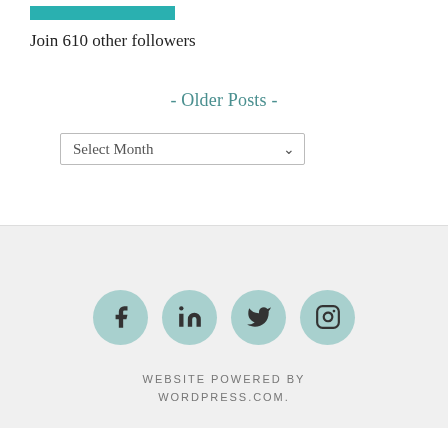[Figure (other): Teal/turquoise rectangular follow button]
Join 610 other followers
- Older Posts -
[Figure (other): Select Month dropdown]
[Figure (other): Social media icons: Facebook, LinkedIn, Twitter, Instagram — circular teal buttons]
WEBSITE POWERED BY WORDPRESS.COM.